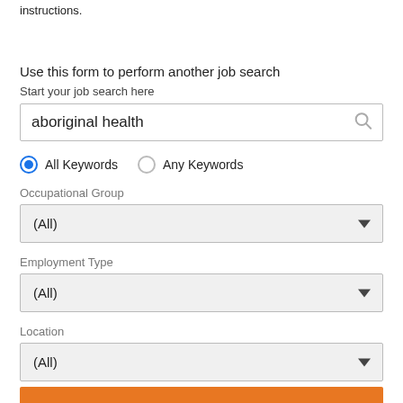instructions.
Use this form to perform another job search
Start your job search here
aboriginal health
All Keywords
Any Keywords
Occupational Group
(All)
Employment Type
(All)
Location
(All)